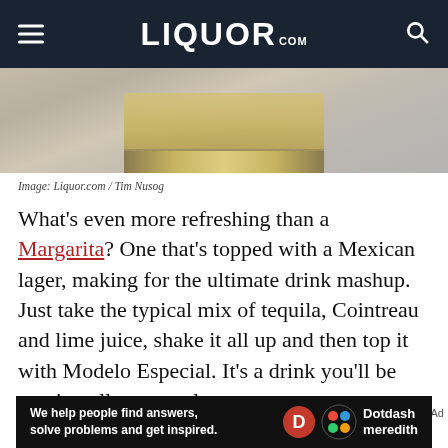LIQUOR.COM
[Figure (photo): Close-up photo of a glass with a golden/amber liquid cocktail on a light surface]
Image: Liquor.com / Tim Nusog
What's even more refreshing than a Margarita? One that's topped with a Mexican lager, making for the ultimate drink mashup. Just take the typical mix of tequila, Cointreau and lime juice, shake it all up and then top it with Modelo Especial. It's a drink you'll be craving all summer long.
Get the recipe.
[Figure (other): Dotdash Meredith advertisement banner: 'We help people find answers, solve problems and get inspired.']